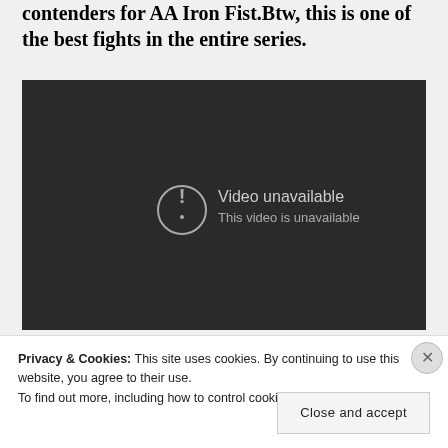contenders for AA Iron Fist.Btw, this is one of the best fights in the entire series.
[Figure (screenshot): Embedded video player showing 'Video unavailable - This video is unavailable' error message on a dark background]
Privacy & Cookies: This site uses cookies. By continuing to use this website, you agree to their use.
To find out more, including how to control cookies, see here: Cookie Policy
Close and accept